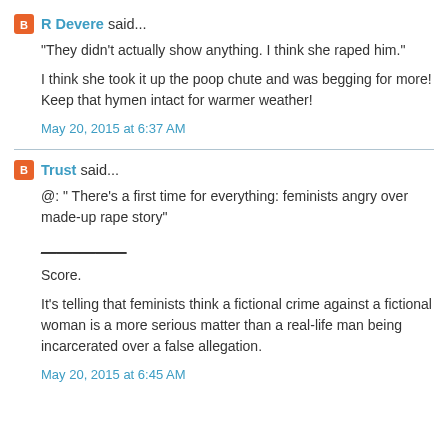R Devere said...
"They didn't actually show anything. I think she raped him."
I think she took it up the poop chute and was begging for more! Keep that hymen intact for warmer weather!
May 20, 2015 at 6:37 AM
Trust said...
@: " There's a first time for everything: feminists angry over made-up rape story"
___________
Score.
It's telling that feminists think a fictional crime against a fictional woman is a more serious matter than a real-life man being incarcerated over a false allegation.
May 20, 2015 at 6:45 AM